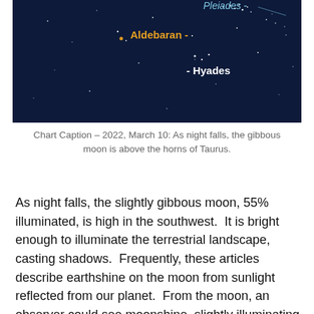[Figure (photo): Night sky image showing stars with labels for Aldebaran, Pleiades, and Hyades star clusters against a dark navy background]
Chart Caption – 2022, March 10: As night falls, the gibbous moon is above the horns of Taurus.
As night falls, the slightly gibbous moon, 55% illuminated, is high in the southwest.  It is bright enough to illuminate the terrestrial landscape, casting shadows.  Frequently, these articles describe earthshine on the moon from sunlight reflected from our planet.  From the moon, an observer could see moonshine, slightly illuminating Earth's night portions. Sunlight reflecting from the moon's mountains, rocks, and dirt illuminates our planet.  Earth's phase is waning to the